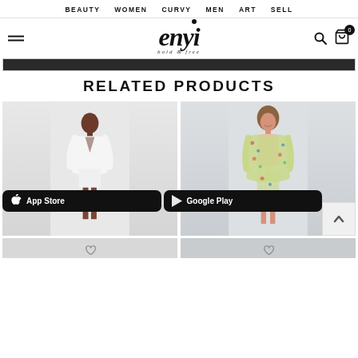BEAUTY  WOMEN  CURVY  MEN  ART  SELL
[Figure (logo): Enyi bold & free logo with hamburger menu, search and cart icons]
[Figure (screenshot): Dark banner strip below the logo area]
RELATED PRODUCTS
[Figure (photo): Woman in white outfit standing against light grey background]
[Figure (photo): Woman in floral kimono outfit smiling against light background]
[Figure (screenshot): App Store badge]
[Figure (screenshot): Google Play badge]
[Figure (photo): Bottom strip partial product photos with heart/wishlist icons]